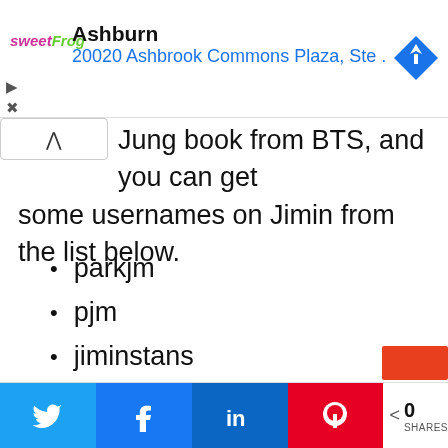[Figure (screenshot): Ad banner for sweetFrog frozen yogurt in Ashburn with address 20020 Ashbrook Commons Plaza, Ste. and a blue navigation diamond icon]
Jung book from BTS, and you can get some usernames on Jimin from the list below.
parkjm
pjm
jiminstans
bbyjim
bbyjm
[Figure (screenshot): Social sharing bar with Twitter, Facebook, LinkedIn, Pinterest buttons and share count 0 SHARES]